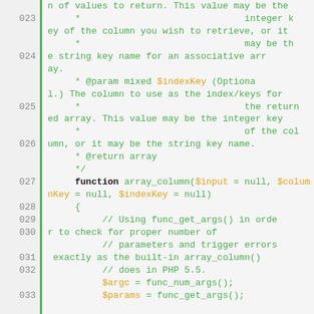Code listing showing PHP array_column() function source with line numbers 023-038
[Figure (screenshot): PHP source code listing with green line numbers on left, green code comments and orange variable names on right, lines 023 through 038]